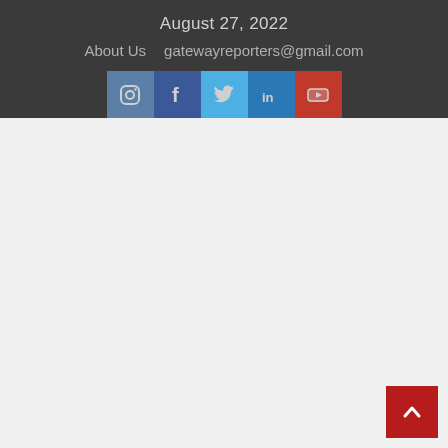August 27, 2022
About Us   gatewayreporters@gmail.com
[Figure (infographic): Row of five social media icon buttons: Instagram (grey-blue), Facebook (dark blue), Twitter (light blue), LinkedIn (medium blue), YouTube (red)]
[Figure (infographic): Red back-to-top arrow button in bottom right corner]